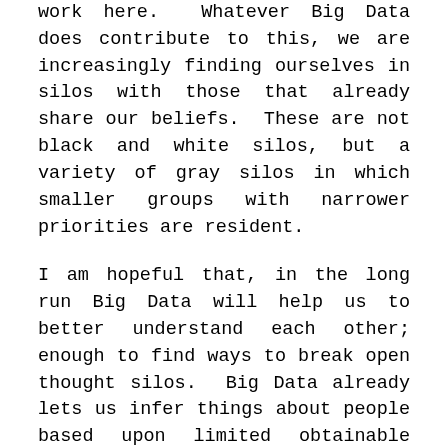work here. Whatever Big Data does contribute to this, we are increasingly finding ourselves in silos with those that already share our beliefs. These are not black and white silos, but a variety of gray silos in which smaller groups with narrower priorities are resident.
I am hopeful that, in the long run Big Data will help us to better understand each other; enough to find ways to break open thought silos. Big Data already lets us infer things about people based upon limited obtainable data. Maybe sometime in the future we will be able to infer the best ways to start a discussion with each other.
In the meantime, what can we do about this? What should we do about this, if anything? I have nothing to suggest. But I'm sure that, if I did have something to suggest, I wouldn't get enough people to agree with me to act on it.